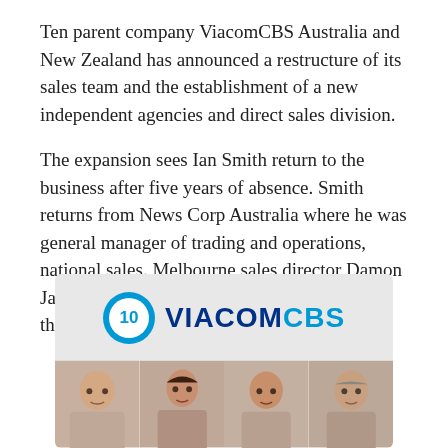Ten parent company ViacomCBS Australia and New Zealand has announced a restructure of its sales team and the establishment of a new independent agencies and direct sales division.
The expansion sees Ian Smith return to the business after five years of absence. Smith returns from News Corp Australia where he was general manager of trading and operations, national sales. Melbourne sales director Damon Jackson will be exiting the business as part of the changes.
[Figure (photo): Photo showing the Channel 10 and ViacomCBS logos at the top, with headshots of four people (two men and two women) visible below on a grey background.]